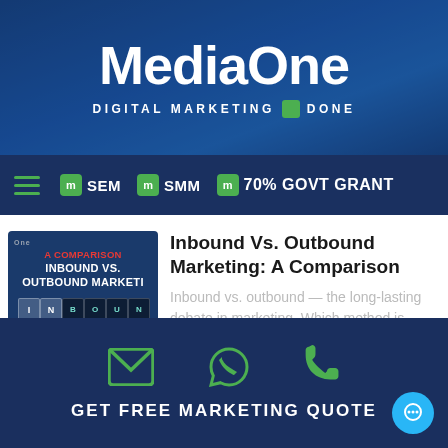MediaOne — DIGITAL MARKETING DONE
SEM   SMM   70% GOVT GRANT
[Figure (photo): Thumbnail image for article about Inbound vs Outbound Marketing comparison, showing letter tiles spelling BOUND and overlay text]
Inbound Vs. Outbound Marketing: A Comparison
Inbound vs. outbound — the long-lasting debate in marketing. Which method is more effective in driving leads and sales? The answer, unfortunately, is that there
GET FREE MARKETING QUOTE